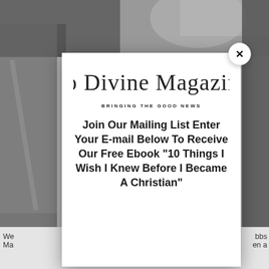[Figure (photo): Background showing a black and white photo partially visible behind a modal popup, with dark strips on left and right edges and a photo band at top]
[Figure (logo): So Divine Magazine logo in cursive script with tagline BRINGING THE GOOD NEWS]
Join Our Mailing List Enter Your E-mail Below To Receive Our Free Ebook "10 Things I Wish I Knew Before I Became A Christian"
We ... bbs Ma... en a